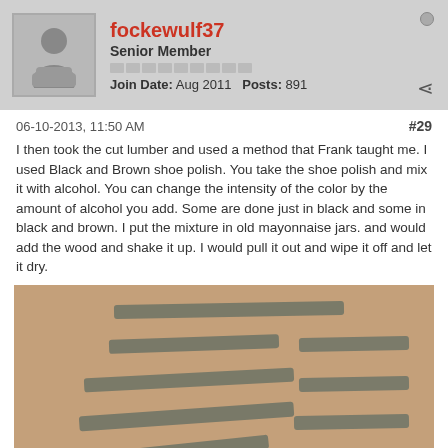[Figure (screenshot): Forum user profile header showing avatar, username fockewulf37, Senior Member rank, reputation bars, join date Aug 2011, posts 891, online dot and share icon]
06-10-2013, 11:50 AM
#29
I then took the cut lumber and used a method that Frank taught me. I used Black and Brown shoe polish. You take the shoe polish and mix it with alcohol. You can change the intensity of the color by the amount of alcohol you add. Some are done just in black and some in black and brown. I put the mixture in old mayonnaise jars. and would add the wood and shake it up. I would pull it out and wipe it off and let it dry.
[Figure (photo): Photo of multiple narrow wood strips/sticks laid out on a tan/brown surface, showing darker grey-brown coloring from shoe polish treatment]